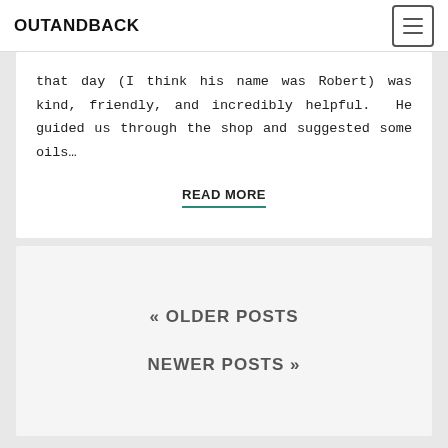OUTANDBACK
that day (I think his name was Robert) was kind, friendly, and incredibly helpful. He guided us through the shop and suggested some oils…
READ MORE
« OLDER POSTS
NEWER POSTS »